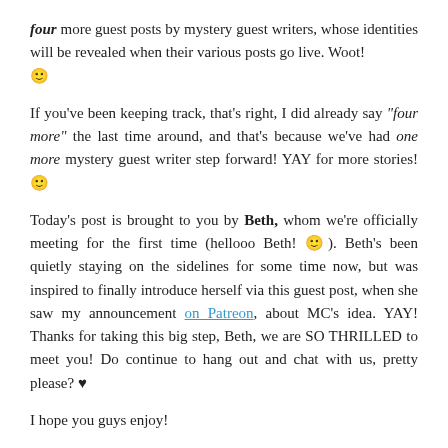four more guest posts by mystery guest writers, whose identities will be revealed when their various posts go live. Woot! 🙂
If you've been keeping track, that's right, I did already say "four more" the last time around, and that's because we've had one more mystery guest writer step forward! YAY for more stories! 🙂
Today's post is brought to you by Beth, whom we're officially meeting for the first time (hellooo Beth! 🙂). Beth's been quietly staying on the sidelines for some time now, but was inspired to finally introduce herself via this guest post, when she saw my announcement on Patreon, about MC's idea. YAY! Thanks for taking this big step, Beth, we are SO THRILLED to meet you! Do continue to hang out and chat with us, pretty please? ♥
I hope you guys enjoy!
~ KEG ♥